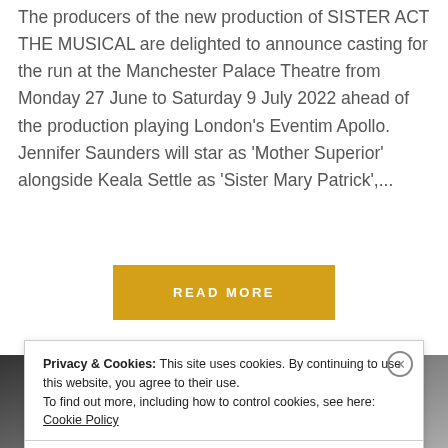The producers of the new production of SISTER ACT THE MUSICAL are delighted to announce casting for the run at the Manchester Palace Theatre from Monday 27 June to Saturday 9 July 2022 ahead of the production playing London's Eventim Apollo. Jennifer Saunders will star as 'Mother Superior' alongside Keala Settle as 'Sister Mary Patrick',...
READ MORE
[Figure (photo): Black and white partial photo of a person's head/face, partially visible at the bottom of the page]
Privacy & Cookies: This site uses cookies. By continuing to use this website, you agree to their use.
To find out more, including how to control cookies, see here: Cookie Policy
Close and accept